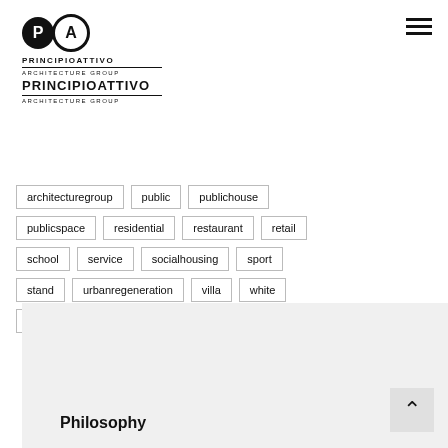[Figure (logo): PRINCIPIOATTIVO ARCHITECTURE GROUP logo with two circles P and A]
architecturegroup
public
publichouse
publicspace
residential
restaurant
retail
school
service
socialhousing
sport
stand
urbanregeneration
villa
white
wood
Philosophy